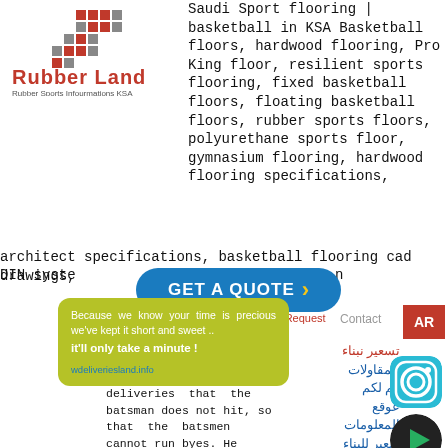[Figure (logo): Rubber Land logo with red and gray pixel/brick pattern and text 'Rubber Land' in red, subtitle 'Rubber Sports Infourmations KSA']
Saudi Sport flooring | basketball in KSA Basketball floors, hardwood flooring, Pro King floor, resilient sports flooring, fixed basketball floors, floating basketball floors, rubber sports floors, polyurethane sports floor, gymnasium flooring, hardwood flooring specifications, architect specifications, basketball flooring cad drawings, DIN system n
[Figure (infographic): Blue rounded button 'GET A QUOTE >' with yellow arrow, overlapping a yellow-green tooltip box saying 'Because we know your time is precious we've kept it short and sweet .. it'll only take a minute !' with a link 'wdeliveriesland.info']
ice Request   Contact
[Figure (infographic): Red AR button in top right corner]
Arabic text sidebar with blue and red Arabic text about prices and exhibitions
alist his primary job is to gather deliveries that the batsman does not hit, so that the batsmen cannot run byes. He wears special gloves (he is the only fielder allowed to do so), a box over the groin, and pads to cover his lower legs.
[Figure (illustration): Instagram icon circle teal colored]
[Figure (illustration): Black circle play button icon]